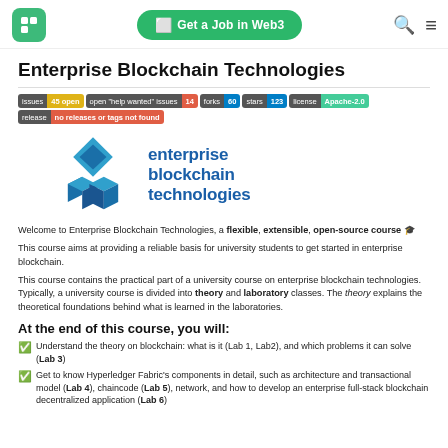[ ] Get a Job in Web3
Enterprise Blockchain Technologies
[Figure (logo): Enterprise Blockchain Technologies logo: blue diamond shapes and text 'enterprise blockchain technologies' in blue]
Welcome to Enterprise Blockchain Technologies, a flexible, extensible, open-source course 🎓
This course aims at providing a reliable basis for university students to get started in enterprise blockchain.
This course contains the practical part of a university course on enterprise blockchain technologies. Typically, a university course is divided into theory and laboratory classes. The theory explains the theoretical foundations behind what is learned in the laboratories.
At the end of this course, you will:
✅ Understand the theory on blockchain: what is it (Lab 1, Lab2), and which problems it can solve (Lab 3)
✅ Get to know Hyperledger Fabric's components in detail, such as architecture and transactional model (Lab 4), chaincode (Lab 5), network, and how to develop an enterprise full-stack blockchain decentralized application (Lab 6)